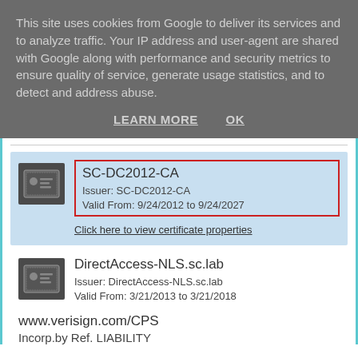This site uses cookies from Google to deliver its services and to analyze traffic. Your IP address and user-agent are shared with Google along with performance and security metrics to ensure quality of service, generate usage statistics, and to detect and address abuse.
LEARN MORE    OK
[Figure (screenshot): Certificate manager UI showing SC-DC2012-CA certificate selected (highlighted in blue), with a red box around its name, issuer, and validity. Below it is DirectAccess-NLS.sc.lab certificate, and partially visible www.verisign.com/CPS entry.]